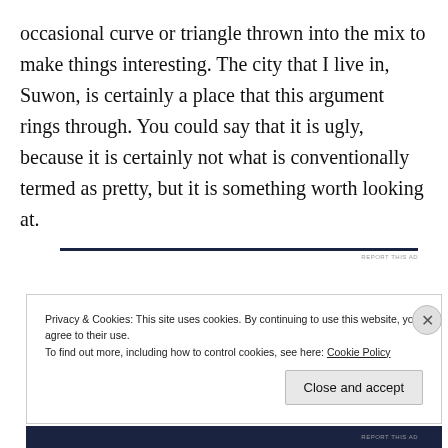occasional curve or triangle thrown into the mix to make things interesting. The city that I live in, Suwon, is certainly a place that this argument rings through. You could say that it is ugly, because it is certainly not what is conventionally termed as pretty, but it is something worth looking at.
Privacy & Cookies: This site uses cookies. By continuing to use this website, you agree to their use. To find out more, including how to control cookies, see here: Cookie Policy
Close and accept